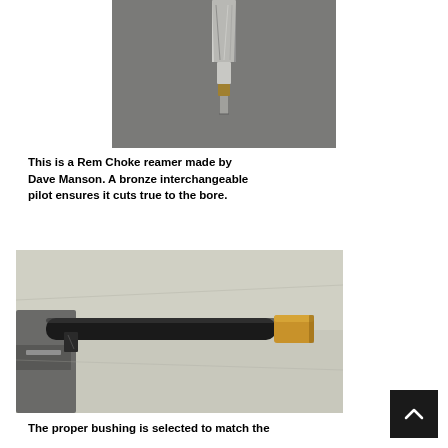[Figure (photo): Close-up photo of a Rem Choke reamer tool made by Dave Manson, showing the tip and shank of the reamer against a gray background.]
This is a Rem Choke reamer made by Dave Manson. A bronze interchangeable pilot ensures it cuts true to the bore.
[Figure (photo): Photo of a shotgun barrel clamped in a machining fixture, with a brass bushing/pilot visible at the muzzle end, positioned for reaming.]
The proper bushing is selected to match the